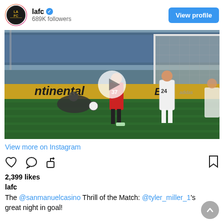lafc · 689K followers · View profile
[Figure (screenshot): Soccer match video thumbnail showing players near goal. Player number 37 in red and player number 24 in white. Play button overlay in center. Continental banner visible. Adidas branding on goal.]
View more on Instagram
2,399 likes
lafc
The @sanmanuelcasino Thrill of the Match: @tyler_miller_1's great night in goal!